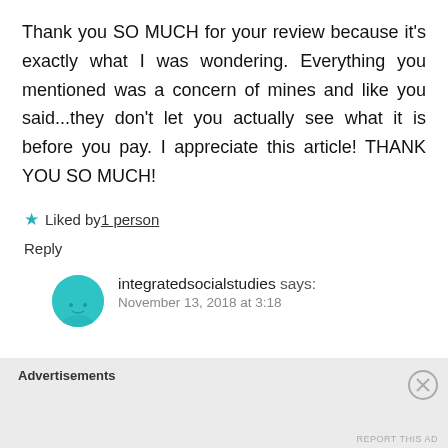Thank you SO MUCH for your review because it's exactly what I was wondering. Everything you mentioned was a concern of mines and like you said...they don't let you actually see what it is before you pay. I appreciate this article! THANK YOU SO MUCH!
★ Liked by 1 person
Reply
integratedsocialstudies says:
Advertisements